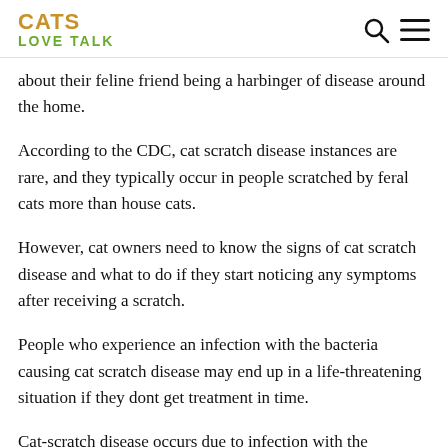CATS LOVE TALK
about their feline friend being a harbinger of disease around the home.
According to the CDC, cat scratch disease instances are rare, and they typically occur in people scratched by feral cats more than house cats.
However, cat owners need to know the signs of cat scratch disease and what to do if they start noticing any symptoms after receiving a scratch.
People who experience an infection with the bacteria causing cat scratch disease may end up in a life-threatening situation if they dont get treatment in time.
Cat-scratch disease occurs due to infection with the